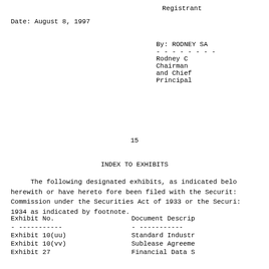Registrant
Date:  August 8, 1997
By:  RODNEY SA
---------
Rodney C
Chairman
and Chief
Principal
15
INDEX TO EXHIBITS
The following designated exhibits, as indicated belo herewith or have hereto fore been filed with the Securit: Commission under the Securities Act of 1933 or the Securi: 1934 as indicated by footnote.
| Exhibit No. | Document Descrip |
| --- | --- |
| - ----------- | ----------- |
| Exhibit 10(uu) | Standard Industr |
| Exhibit 10(vv) | Sublease Agreeme |
| Exhibit 27 | Financial Data S |